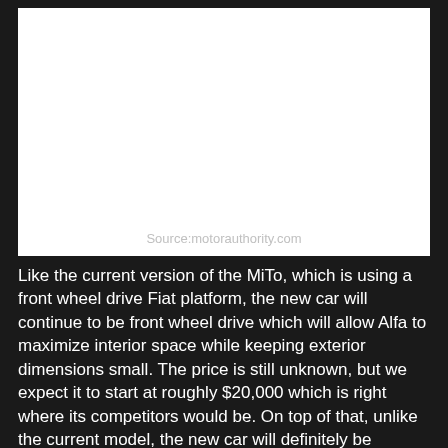[Figure (photo): White blank image area with source attribution 'Source:motorauthority.com' at the bottom]
Source:motorauthority.com
Like the current version of the MiTo, which is using a front wheel drive Fiat platform, the new car will continue to be front wheel drive which will allow Alfa to maximize interior space while keeping exterior dimensions small. The price is still unknown, but we expect it to start at roughly $20,000 which is right where its competitors would be. On top of that, unlike the current model, the new car will definitely be available on the US market which would be their second car here.